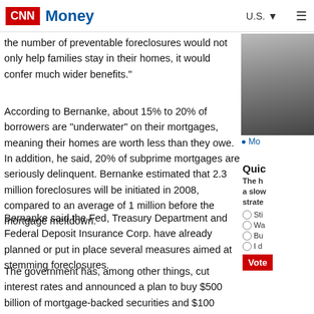CNN Money | U.S.
the number of preventable foreclosures would not only help families stay in their homes, it would confer much wider benefits."
According to Bernanke, about 15% to 20% of borrowers are "underwater" on their mortgages, meaning their homes are worth less than they owe. In addition, he said, 20% of subprime mortgages are seriously delinquent. Bernanke estimated that 2.3 million foreclosures will be initiated in 2008, compared to an average of 1 million before the mortgage meltdown.
Bernanke said the Fed, Treasury Department and Federal Deposit Insurance Corp. have already planned or put in place several measures aimed at stemming foreclosures.
The government has, among other things, cut interest rates and announced a plan to buy $500 billion of mortgage-backed securities and $100 billion of debt issued by government-sponsored mortgage financers Fannie Mae (FNM, Fortune 500) and Freddie Mac (FRE, Fortune 500).